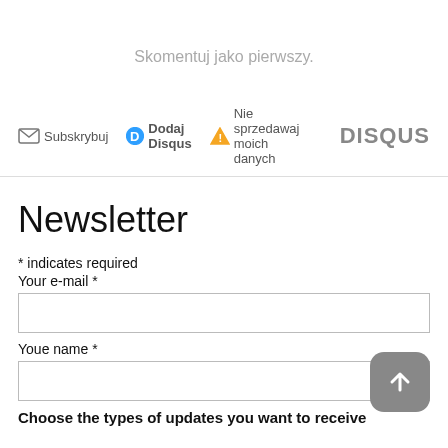Skomentuj jako pierwszy.
[Figure (other): Disqus footer bar with icons: Subscribe (envelope), Add Disqus (D logo), Do Not Sell My Data (warning triangle), and DISQUS logo on the right]
Newsletter
* indicates required
Your e-mail *
Youe name *
Choose the types of updates you want to receive